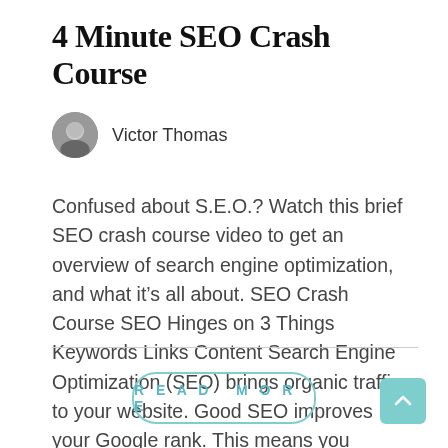4 Minute SEO Crash Course
[Figure (photo): Small circular avatar photo of Victor Thomas, a man in a dark jacket]
Victor Thomas
Confused about S.E.O.? Watch this brief SEO crash course video to get an overview of search engine optimization, and what it's all about. SEO Crash Course SEO Hinges on 3 Things Keywords Links Content Search Engine Optimization (SEO) brings organic traffic to your website. Good SEO improves your Google rank. This means you appear in [...]
READ MORE